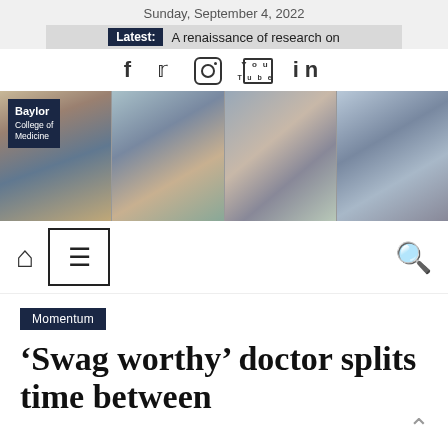Sunday, September 4, 2022
Latest: A renaissance of research on
[Figure (screenshot): Social media icons: Facebook, Twitter, Instagram, YouTube, LinkedIn]
[Figure (photo): Baylor College of Medicine banner with four panels showing medical students and professionals in clinical and laboratory settings. Logo overlay in top left corner reads: Baylor College of Medicine]
[Figure (infographic): Website navigation bar with home icon, hamburger menu button, and search icon]
Momentum
'Swag worthy' doctor splits time between